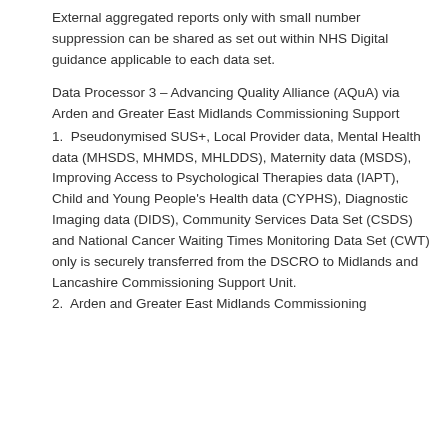External aggregated reports only with small number suppression can be shared as set out within NHS Digital guidance applicable to each data set.
Data Processor 3 – Advancing Quality Alliance (AQuA) via Arden and Greater East Midlands Commissioning Support
1.  Pseudonymised SUS+, Local Provider data, Mental Health data (MHSDS, MHMDS, MHLDDS), Maternity data (MSDS), Improving Access to Psychological Therapies data (IAPT), Child and Young People's Health data (CYPHS), Diagnostic Imaging data (DIDS), Community Services Data Set (CSDS) and National Cancer Waiting Times Monitoring Data Set (CWT) only is securely transferred from the DSCRO to Midlands and Lancashire Commissioning Support Unit.
2.  Arden and Greater East Midlands Commissioning